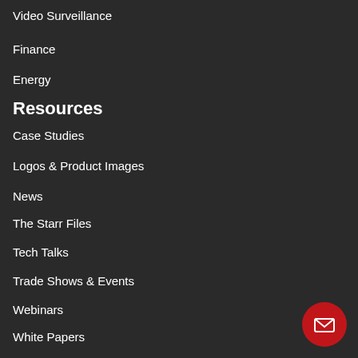Video Surveillance
Finance
Energy
Resources
Case Studies
Logos & Product Images
News
The Starr Files
Tech Talks
Trade Shows & Events
Webinars
White Papers
Connect
Support
Resources
Technical Partners